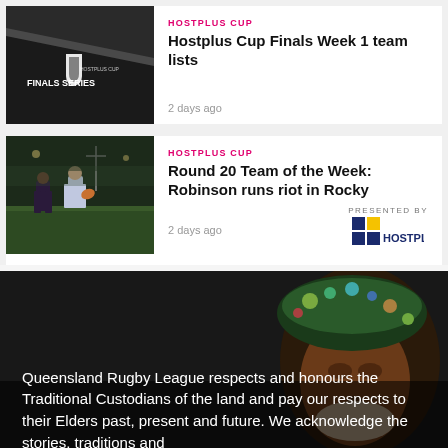[Figure (photo): Hostplus Cup Finals Series logo on dark background]
HOSTPLUS CUP
Hostplus Cup Finals Week 1 team lists
2 days ago
[Figure (photo): Rugby league players on field at night]
HOSTPLUS CUP
Round 20 Team of the Week: Robinson runs riot in Rocky
2 days ago
[Figure (logo): Hostplus logo - PRESENTED BY Hostplus]
[Figure (photo): Indigenous elder wearing traditional headwear - dark background]
Queensland Rugby League respects and honours the Traditional Custodians of the land and pay our respects to their Elders past, present and future. We acknowledge the stories, traditions and